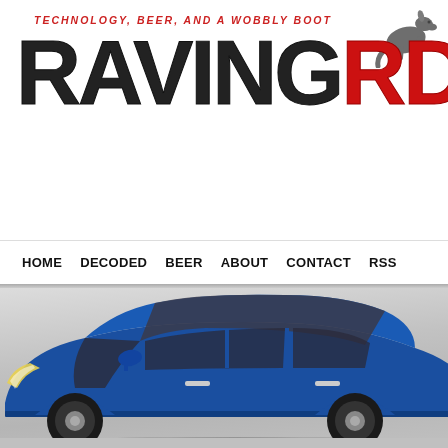TECHNOLOGY, BEER, AND A WOBBLY BOOT
RAVING RDo
HOME  DECODED  BEER  ABOUT  CONTACT  RSS
[Figure (photo): Side view of a blue Honda Odyssey minivan against a light gray gradient background]